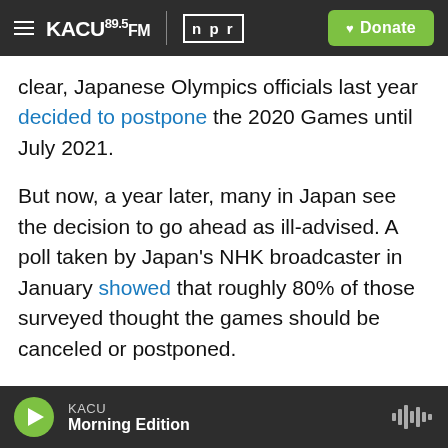KACU 89.5FM | npr — Donate
clear, Japanese Olympics officials last year decided to postpone the 2020 Games until July 2021.
But now, a year later, many in Japan see the decision to go ahead as ill-advised. A poll taken by Japan's NHK broadcaster in January showed that roughly 80% of those surveyed thought the games should be canceled or postponed.
As a sign of that concern, the world's oldest woman according to Guinness World Records, 118-year-old Kane Tanaka, who had been scheduled to participate in the torch relay for the games –
KACU — Morning Edition